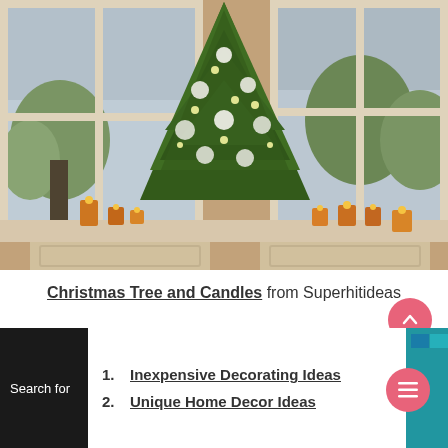[Figure (photo): Indoor Christmas tree decorated with white/silver ornaments and lights, placed in a bay window area. Warm amber candles line the windowsill on both sides. Outside windows show snow-covered trees. Warm golden indoor lighting.]
Christmas Tree and Candles from Superhitideas
1. Inexpensive Decorating Ideas
2. Unique Home Decor Ideas